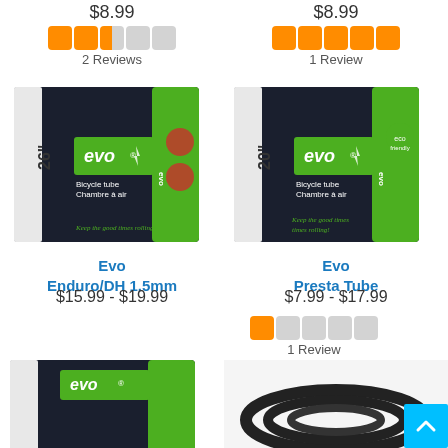$8.99 (left column price, top)
$8.99 (right column price, top)
[Figure (other): 5-star rating widget showing 2.5 stars out of 5 (orange filled squares) with label '2 Reviews']
[Figure (other): 5-star rating widget showing 5 stars out of 5 (orange filled squares) with label '1 Review']
[Figure (photo): Evo 26-inch bicycle tube box, black with green stripe, evo logo, text 'Bicycle tube Chambre à air', 'Keep the good times rolling!']
[Figure (photo): Evo 20-inch bicycle tube box, black with green stripe, evo logo, text 'Bicycle tube Chambre à air', 'Keep the good times rolling!']
Evo Enduro/DH 1.5mm
$15.99 - $19.99
Evo Presta Tube
$7.99 - $17.99
[Figure (other): 5-star rating widget showing 1 star out of 5 (orange filled square) with label '1 Review']
[Figure (photo): Partial view of Evo bicycle tube box (bottom left), black with green stripe]
[Figure (photo): Partial view of black bicycle tube coiled (bottom right)]